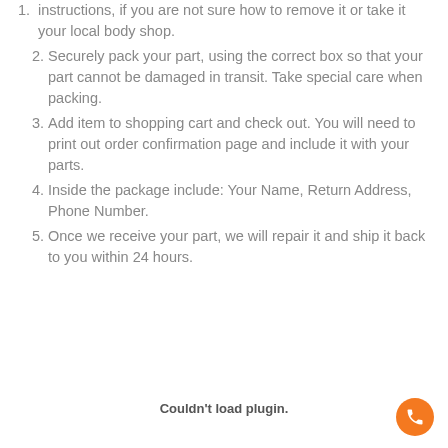instructions, if you are not sure how to remove it or take it your local body shop.
Securely pack your part, using the correct box so that your part cannot be damaged in transit. Take special care when packing.
Add item to shopping cart and check out. You will need to print out order confirmation page and include it with your parts.
Inside the package include: Your Name, Return Address, Phone Number.
Once we receive your part, we will repair it and ship it back to you within 24 hours.
Couldn't load plugin.